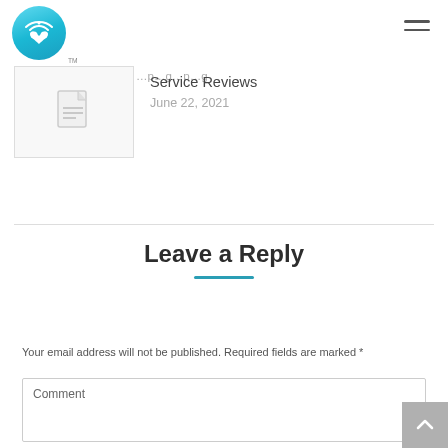[Figure (logo): Circular blue gradient logo with WiFi symbol and heart/people icon, followed by TM mark]
[Figure (other): Hamburger menu icon (three horizontal lines) in top right corner]
[Figure (other): Article thumbnail placeholder with document icon]
Service Reviews
June 22, 2021
Leave a Reply
Your email address will not be published. Required fields are marked *
Comment